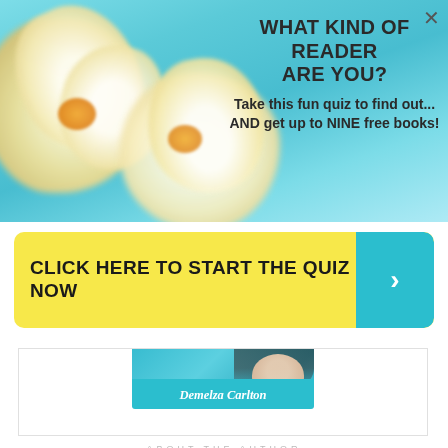[Figure (photo): Promotional banner with tropical plumeria flowers on a teal/aqua background. Text overlay reads: WHAT KIND OF READER ARE YOU? Take this fun quiz to find out... AND get up to NINE free books! Close (X) button in top right.]
CLICK HERE TO START THE QUIZ NOW >
[Figure (photo): Author photo of Demelza Carlton on teal background with author name label below.]
ABOUT THE AUTHOR